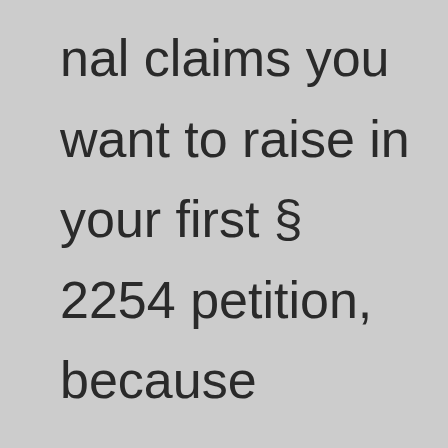nal claims you want to raise in your first § 2254 petition, because